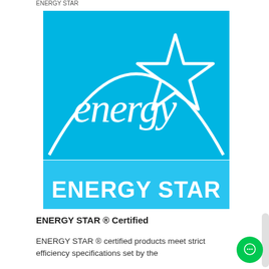ENERGY STAR
[Figure (logo): ENERGY STAR logo — blue square with white arch/dome graphic, cursive 'energy' text with a white outlined star, and 'ENERGY STAR' in bold white sans-serif text on a lighter blue banner below]
ENERGY STAR ® Certified
ENERGY STAR ® certified products meet strict efficiency specifications set by the